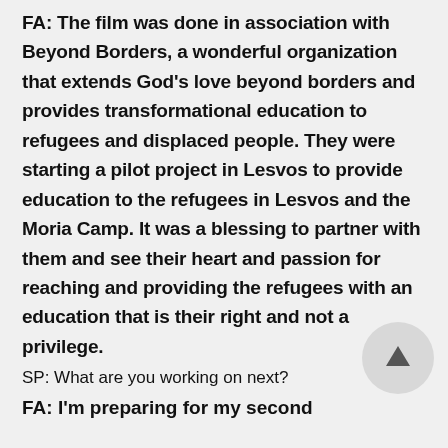FA: The film was done in association with Beyond Borders, a wonderful organization that extends God's love beyond borders and provides transformational education to refugees and displaced people. They were starting a pilot project in Lesvos to provide education to the refugees in Lesvos and the Moria Camp. It was a blessing to partner with them and see their heart and passion for reaching and providing the refugees with an education that is their right and not a privilege.
SP: What are you working on next?
FA: I'm preparing for my second